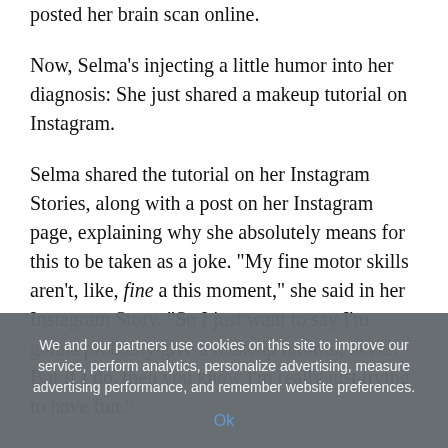posted her brain scan online.
Now, Selma's injecting a little humor into her diagnosis: She just shared a makeup tutorial on Instagram.
Selma shared the tutorial on her Instagram Stories, along with a post on her Instagram page, explaining why she absolutely means for this to be taken as a joke. "My fine motor skills aren't, like, fine a this moment," she said in her Instagram Story. "So I just want to say I'm gonna probably give a makeup tutorial, never. But if I do, then you know I'm really just trying to have fun."
She went on to explain why she decided to talk about her makeup routine: "I notice, I put my makeup on in the
We and our partners use cookies on this site to improve our service, perform analytics, personalize advertising, measure advertising performance, and remember website preferences.
Ok